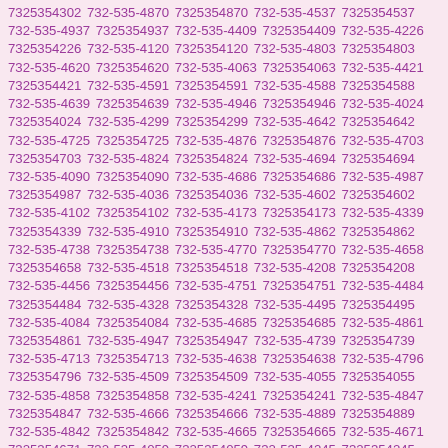7325354302 732-535-4870 7325354870 732-535-4537 7325354537 732-535-4937 7325354937 732-535-4409 7325354409 732-535-4226 7325354226 732-535-4120 7325354120 732-535-4803 7325354803 732-535-4620 7325354620 732-535-4063 7325354063 732-535-4421 7325354421 732-535-4591 7325354591 732-535-4588 7325354588 732-535-4639 7325354639 732-535-4946 7325354946 732-535-4024 7325354024 732-535-4299 7325354299 732-535-4642 7325354642 732-535-4725 7325354725 732-535-4876 7325354876 732-535-4703 7325354703 732-535-4824 7325354824 732-535-4694 7325354694 732-535-4090 7325354090 732-535-4686 7325354686 732-535-4987 7325354987 732-535-4036 7325354036 732-535-4602 7325354602 732-535-4102 7325354102 732-535-4173 7325354173 732-535-4339 7325354339 732-535-4910 7325354910 732-535-4862 7325354862 732-535-4738 7325354738 732-535-4770 7325354770 732-535-4658 7325354658 732-535-4518 7325354518 732-535-4208 7325354208 732-535-4456 7325354456 732-535-4751 7325354751 732-535-4484 7325354484 732-535-4328 7325354328 732-535-4495 7325354495 732-535-4084 7325354084 732-535-4685 7325354685 732-535-4861 7325354861 732-535-4947 7325354947 732-535-4739 7325354739 732-535-4713 7325354713 732-535-4638 7325354638 732-535-4796 7325354796 732-535-4509 7325354509 732-535-4055 7325354055 732-535-4858 7325354858 732-535-4241 7325354241 732-535-4847 7325354847 732-535-4666 7325354666 732-535-4889 7325354889 732-535-4842 7325354842 732-535-4665 7325354665 732-535-4671 7325354671 732-535-4059 7325354059 732-535-4245 7325354245 732-535-4530 7325354530 732-535-4006 7325354006 732-535-4705 7325354705 732-535-4826 7325354826 732-535-4098 7325354098